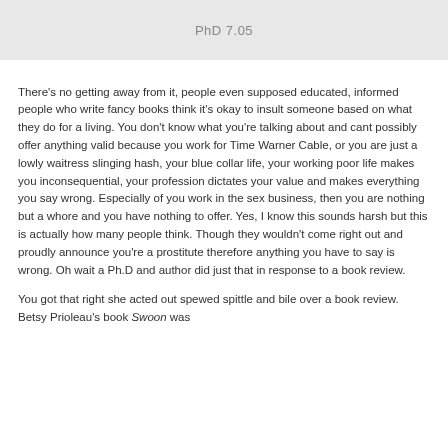PhD 7.05
There's no getting away from it, people even supposed educated, informed people who write fancy books think it's okay to insult someone based on what they do for a living. You don't know what you're talking about and cant possibly offer anything valid because you work for Time Warner Cable, or you are just a lowly waitress slinging hash, your blue collar life, your working poor life makes you inconsequential, your profession dictates your value and makes everything you say wrong. Especially of you work in the sex business, then you are nothing but a whore and you have nothing to offer. Yes, I know this sounds harsh but this is actually how many people think. Though they wouldn't come right out and proudly announce you're a prostitute therefore anything you have to say is wrong. Oh wait a Ph.D and author did just that in response to a book review.
You got that right she acted out spewed spittle and bile over a book review. Betsy Prioleau's book Swoon was